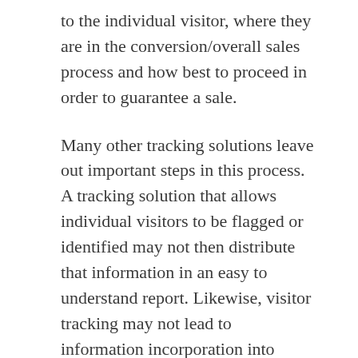to the individual visitor, where they are in the conversion/overall sales process and how best to proceed in order to guarantee a sale.
Many other tracking solutions leave out important steps in this process. A tracking solution that allows individual visitors to be flagged or identified may not then distribute that information in an easy to understand report. Likewise, visitor tracking may not lead to information incorporation into individual marketing campaigns, or have any relativity to overall marketing goals.
This is where marketing automation steps in. With the right solution, businesses can identify individual visitors, get an idea of where they are